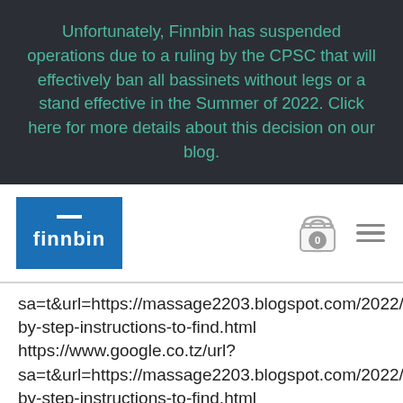Unfortunately, Finnbin has suspended operations due to a ruling by the CPSC that will effectively ban all bassinets without legs or a stand effective in the Summer of 2022. Click here for more details about this decision on our blog.
[Figure (logo): Finnbin logo: blue rectangle with white dash and 'finnbin' text in white, with shopping cart icon showing '0' and hamburger menu icon]
sa=t&url=https://massage2203.blogspot.com/2022/07/st by-step-instructions-to-find.html https://www.google.co.tz/url? sa=t&url=https://massage2203.blogspot.com/2022/07/st by-step-instructions-to-find.html https://www.google.co.th/url? sa=t&url=https://massage2203.blogspot.com/2022/07/st by-step-instructions-to-find.html